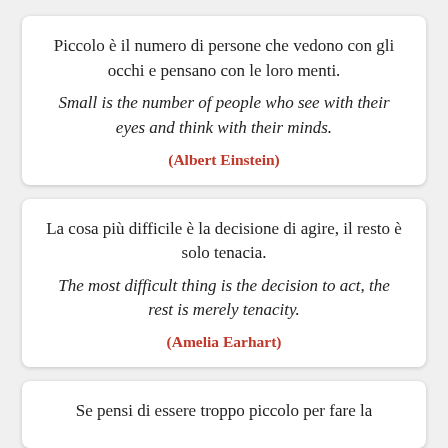Piccolo è il numero di persone che vedono con gli occhi e pensano con le loro menti. Small is the number of people who see with their eyes and think with their minds. (Albert Einstein)
La cosa più difficile è la decisione di agire, il resto è solo tenacia. The most difficult thing is the decision to act, the rest is merely tenacity. (Amelia Earhart)
Se pensi di essere troppo piccolo per fare la